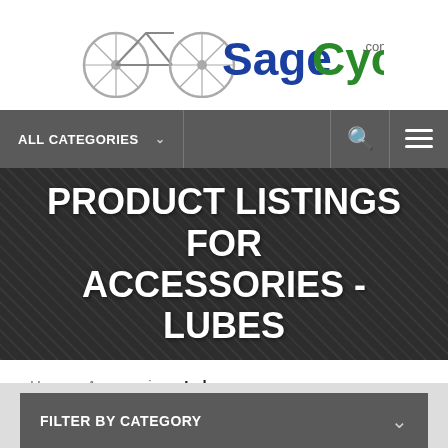[Figure (logo): SageCycles.com logo with bicycle icon — 'Sage' in blue bold and 'Cycles' in green bold with '.com' in small gray text]
ALL CATEGORIES
PRODUCT LISTINGS FOR ACCESSORIES - LUBES
Home > Accessories > Lubes
FILTER BY CATEGORY